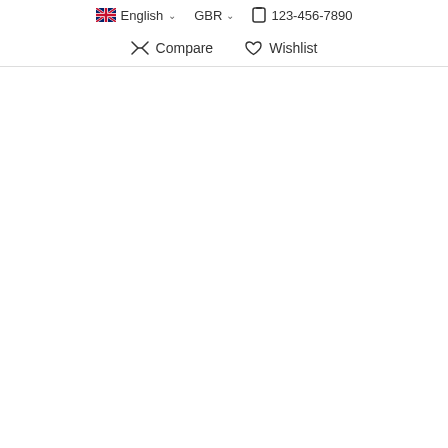🇬🇧 English ˅  GBR ˅  📱 123-456-7890
⇄ Compare  ♡ Wishlist